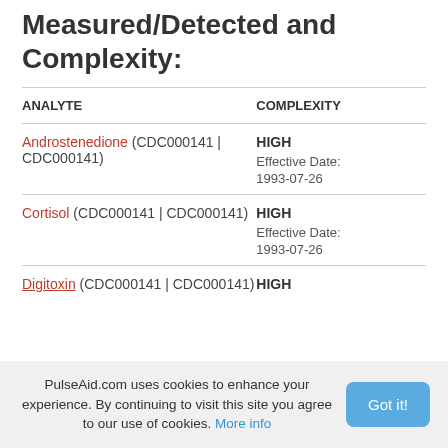Measured/Detected and Complexity:
| ANALYTE | COMPLEXITY |
| --- | --- |
| Androstenedione (CDC000141 | CDC000141) | HIGH
Effective Date:
1993-07-26 |
| Cortisol (CDC000141 | CDC000141) | HIGH
Effective Date:
1993-07-26 |
| Digitoxin (CDC000141 | CDC000141) | HIGH |
PulseAid.com uses cookies to enhance your experience. By continuing to visit this site you agree to our use of cookies. More info